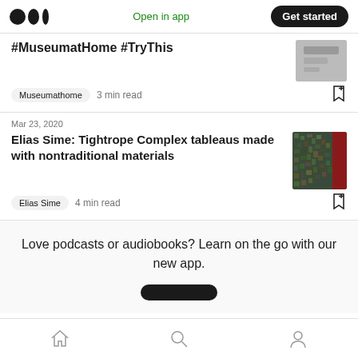Medium logo | Open in app | Get started
#MuseumatHome #TryThis
Museumathome   3 min read
Mar 23, 2020
Elias Sime: Tightrope Complex tableaus made with nontraditional materials
Elias Sime   4 min read
Love podcasts or audiobooks? Learn on the go with our new app.
Home | Search | Profile